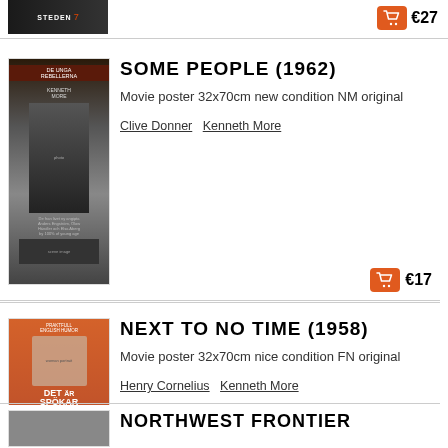[Figure (photo): Partial movie poster for a film (top of page, partially visible), price €27 shown]
€27
[Figure (photo): Movie poster for SOME PEOPLE (1962), Swedish release titled DE UNGA REBELLERNA, featuring Kenneth More, black and white poster]
SOME PEOPLE (1962)
Movie poster 32x70cm new condition NM original
Clive Donner  Kenneth More
€17
[Figure (photo): Movie poster for NEXT TO NO TIME (1958), Swedish release titled DET SPÖKAR PÅ ELISABETH, colorful orange/teal poster featuring Kenneth More and Betty Drake]
NEXT TO NO TIME (1958)
Movie poster 32x70cm nice condition FN original
Henry Cornelius  Kenneth More
€11
NORTHWEST FRONTIER